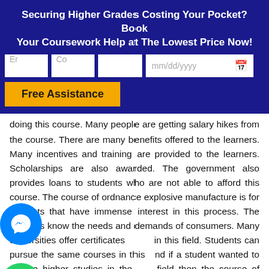Securing Higher Grades Costing Your Pocket? Book Your Coursework Help at The Lowest Price Now!
[Figure (screenshot): Web form with input fields (Email, Course) and a date picker, plus a yellow 'Free Assistance' button on a dark blue background]
doing this course. Many people are getting salary hikes from the course. There are many benefits offered to the learners. Many incentives and training are provided to the learners. Scholarships are also awarded. The government also provides loans to students who are not able to afford this course. The course of ordnance explosive manufacture is for students that have immense interest in this process. The students know the needs and demands of consumers. Many universities offer certificates in this field. Students can pursue the same courses in this and if a student wanted to pursue higher studies in the same field then the course of certificate II in ordnance explosive manufacture is for them. There is a training program developed people who wanted to take their career at an advanced from this course. The advanced level in this
[Figure (screenshot): Blue chat bar at the bottom with 'Chat now' text and chat icon]